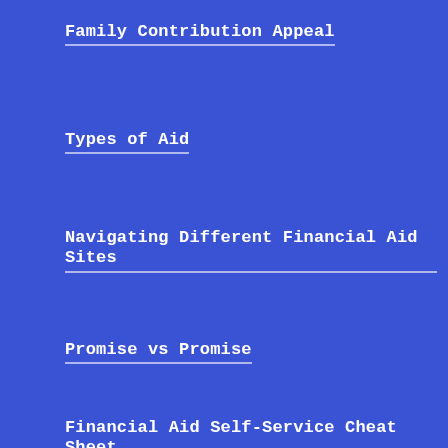Family Contribution Appeal
Types of Aid
Navigating Different Financial Aid Sites
Promise vs Promise
Financial Aid Self-Service Cheat Sheet